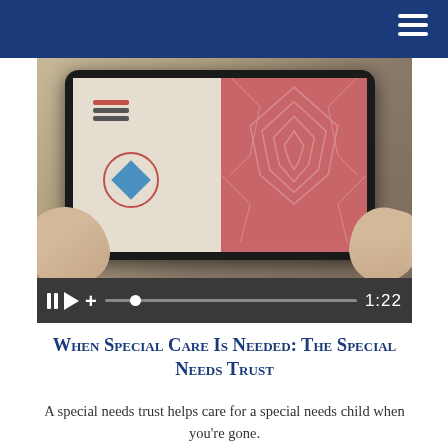[Figure (screenshot): Hands holding a tablet displaying an app screen with a menu icon, a blue diamond inside a pink circle on a beige left panel, and a rose/salmon-colored right panel with a decorative pattern. Below the image is a video player control bar showing pause, play, plus buttons, a progress bar, and a time display of 1:22.]
When Special Care Is Needed: The Special Needs Trust
A special needs trust helps care for a special needs child when you're gone.